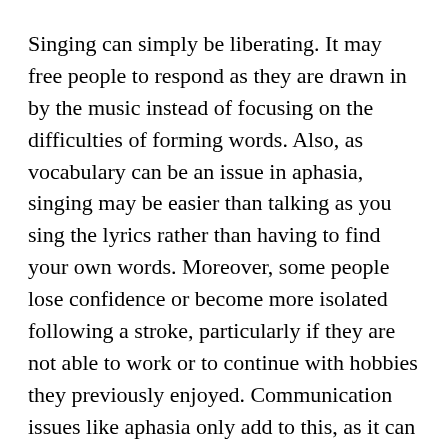Singing can simply be liberating. It may free people to respond as they are drawn in by the music instead of focusing on the difficulties of forming words. Also, as vocabulary can be an issue in aphasia, singing may be easier than talking as you sing the lyrics rather than having to find your own words. Moreover, some people lose confidence or become more isolated following a stroke, particularly if they are not able to work or to continue with hobbies they previously enjoyed. Communication issues like aphasia only add to this, as it can seem easier just to be alone. This is where choirs and other music groups can come into play and open life up again in a new way.
In raising awareness of stroke, then, it's really important to be aware of the causes, yes, and treatments, but also of the way stroke survivors and